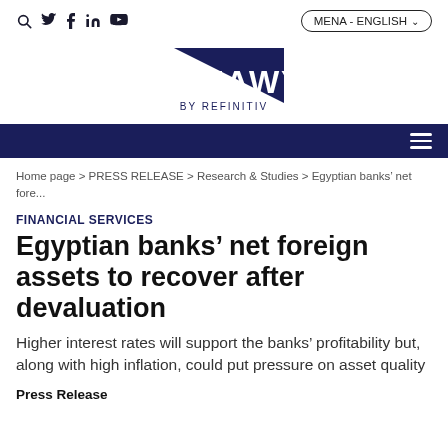Social icons: search, twitter, facebook, linkedin, youtube | MENA - ENGLISH
[Figure (logo): ZAWYA by Refinitiv logo — dark navy triangle with ZAWYA text and BY REFINITIV below]
breadcrumb navigation: Home page > PRESS RELEASE > Research & Studies > Egyptian banks' net fore...
FINANCIAL SERVICES
Egyptian banks' net foreign assets to recover after devaluation
Higher interest rates will support the banks' profitability but, along with high inflation, could put pressure on asset quality
Press Release